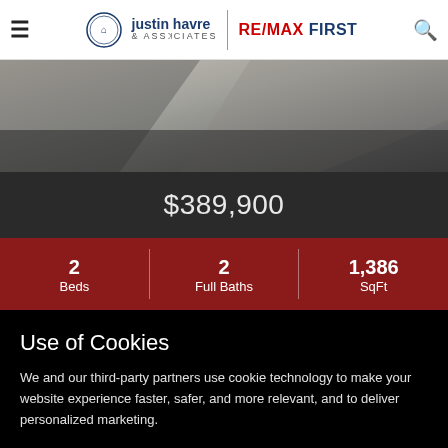justin havre & Associates | RE/MAX FIRST
[Figure (photo): Aerial/overhead photo of a property showing pavement and roofing materials in grey and dark tones]
$389,900
| Beds | Full Baths | SqFt |
| --- | --- | --- |
| 2 | 2 | 1,386 |
Use of Cookies
We and our third-party partners use cookie technology to make your website experience faster, safer, and more relevant, and to deliver personalized marketing.
OK